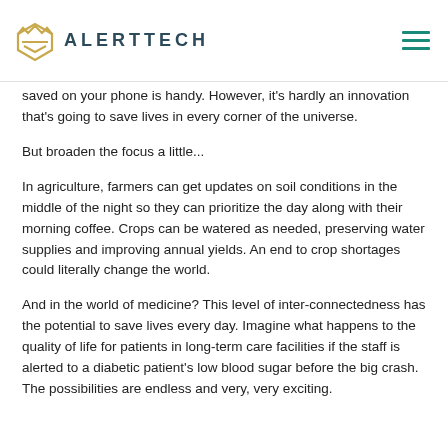ALERTTECH
saved on your phone is handy. However, it's hardly an innovation that's going to save lives in every corner of the universe.
But broaden the focus a little...
In agriculture, farmers can get updates on soil conditions in the middle of the night so they can prioritize the day along with their morning coffee. Crops can be watered as needed, preserving water supplies and improving annual yields. An end to crop shortages could literally change the world.
And in the world of medicine? This level of inter-connectedness has the potential to save lives every day. Imagine what happens to the quality of life for patients in long-term care facilities if the staff is alerted to a diabetic patient's low blood sugar before the big crash. The possibilities are endless and very, very exciting.